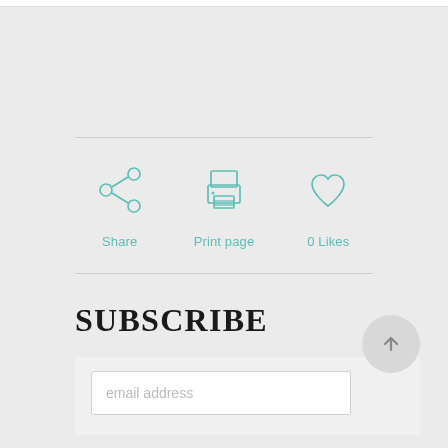[Figure (infographic): Row of three teal icons: Share (network/share icon), Print page (printer icon), 0 Likes (heart icon), each with label below]
Share
Print page
0 Likes
SUBSCRIBE
email address